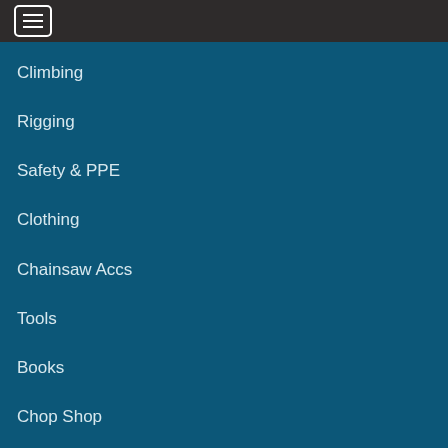Climbing
Rigging
Safety & PPE
Clothing
Chainsaw Accs
Tools
Books
Chop Shop